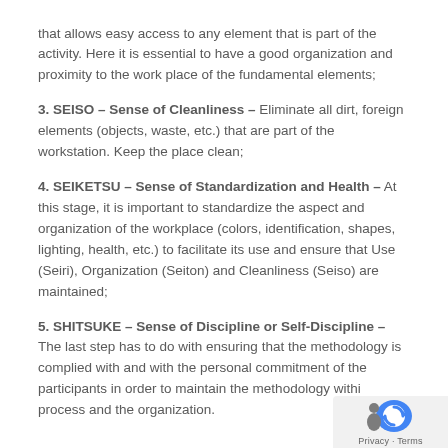that allows easy access to any element that is part of the activity. Here it is essential to have a good organization and proximity to the work place of the fundamental elements;
3. SEISO – Sense of Cleanliness – Eliminate all dirt, foreign elements (objects, waste, etc.) that are part of the workstation. Keep the place clean;
4. SEIKETSU – Sense of Standardization and Health – At this stage, it is important to standardize the aspect and organization of the workplace (colors, identification, shapes, lighting, health, etc.) to facilitate its use and ensure that Use (Seiri), Organization (Seiton) and Cleanliness (Seiso) are maintained;
5. SHITSUKE – Sense of Discipline or Self-Discipline – The last step has to do with ensuring that the methodology is complied with and with the personal commitment of the participants in order to maintain the methodology within process and the organization.